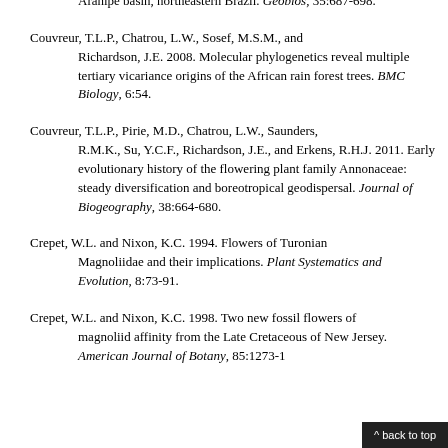Aranipe basin, northeastern Brazil. Geobios, 35:687-698.
Couvreur, T.L.P., Chatrou, L.W., Sosef, M.S.M., and Richardson, J.E. 2008. Molecular phylogenetics reveal multiple tertiary vicariance origins of the African rain forest trees. BMC Biology, 6:54.
Couvreur, T.L.P., Pirie, M.D., Chatrou, L.W., Saunders, R.M.K., Su, Y.C.F., Richardson, J.E., and Erkens, R.H.J. 2011. Early evolutionary history of the flowering plant family Annonaceae: steady diversification and boreotropical geodispersal. Journal of Biogeography, 38:664-680.
Crepet, W.L. and Nixon, K.C. 1994. Flowers of Turonian Magnoliidae and their implications. Plant Systematics and Evolution, 8:73-91.
Crepet, W.L. and Nixon, K.C. 1998. Two new fossil flowers of magnoliid affinity from the Late Cretaceous of New Jersey. American Journal of Botany, 85:1273-1...